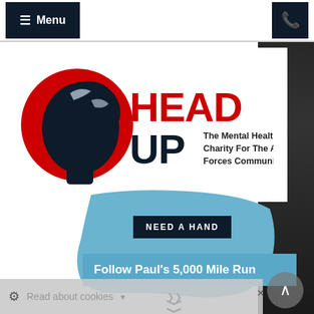Menu
[Figure (logo): Head Up charity logo — silhouette of a person's head looking up against a red circle, with 'HEAD UP' in red and dark blue bold text and tagline 'The Mental Health Charity For The Armed Forces Community']
NEED A HAND
Follow Paul's 5,000 Mile Run
Read about cookies